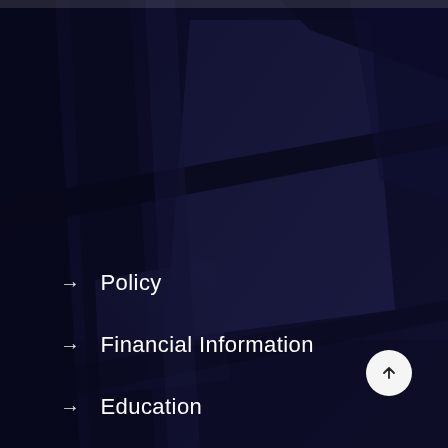[Figure (photo): Dark navy blue architectural background photo showing building interior with geometric shapes, beams, and panels at diagonal angles, overlaid with a deep blue-purple tinted filter.]
→ Policy
→ Financial Information
→ Education